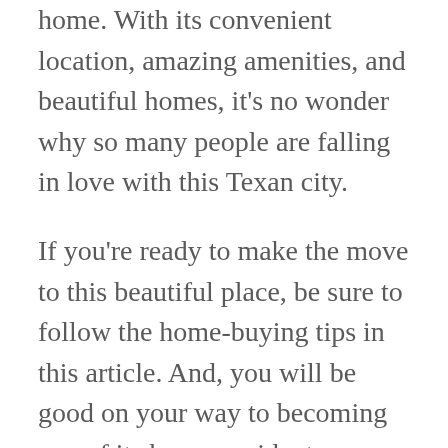home. With its convenient location, amazing amenities, and beautiful homes, it's no wonder why so many people are falling in love with this Texan city.
If you're ready to make the move to this beautiful place, be sure to follow the home-buying tips in this article. And, you will be good on your way to becoming one of its happy residents.
If you have any questions about the things to do in Jersey Village, feel free to share them in the comments section below. And, for more information that you can use in buying a home.